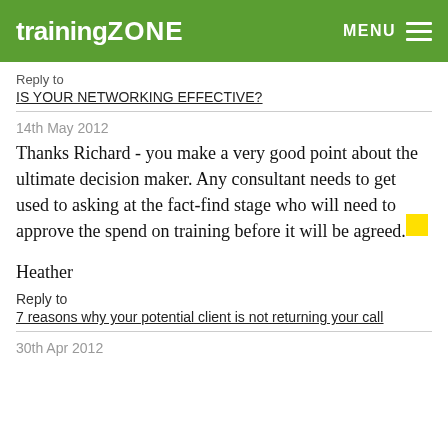trainingZONE  MENU
Reply to
IS YOUR NETWORKING EFFECTIVE?
14th May 2012
Thanks Richard - you make a very good point about the ultimate decision maker. Any consultant needs to get used to asking at the fact-find stage who will need to approve the spend on training before it will be agreed.

Heather
Reply to
7 reasons why your potential client is not returning your call
30th Apr 2012